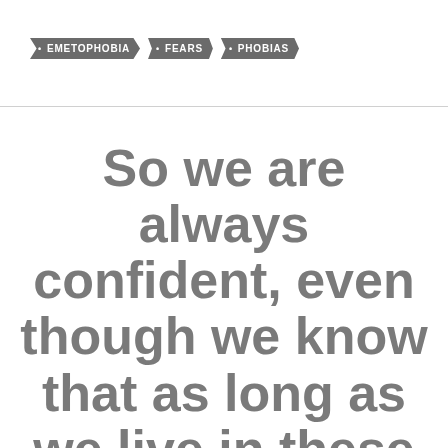• EMETOPHOBIA  • FEARS  • PHOBIAS
So we are always confident, even though we know that as long as we live in these bodies we are not at home with the Lord. For we live by